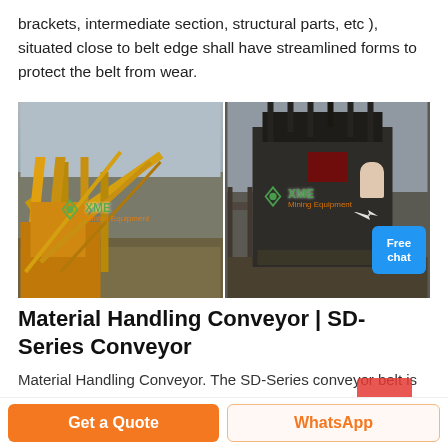brackets, intermediate section, structural parts, etc ), situated close to belt edge shall have streamlined forms to protect the belt from wear.
[Figure (photo): Two side-by-side photos of mining/quarry conveyor equipment. Left: yellow conveyor structure at a quarry with cloudy sky and machinery. Right: large dark industrial crusher/screening machine on a platform with scaffolding. Both images have XME Mining Equipment watermarks. A 'Free chat' blue button appears in the bottom-right of the combined image with a customer service person icon.]
Material Handling Conveyor | SD-Series Conveyor
Material Handling Conveyor. The SD-Series conveyor belt is the real power-player of material handling conveyors. The design of the SD-Series makes it a master mover of all kinds of material for all types of applications. The
Get a Quote   WhatsApp